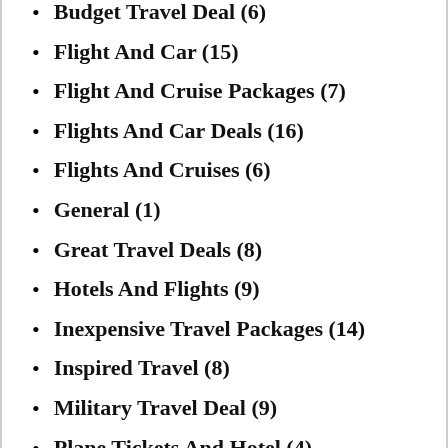Budget Travel Deal (6)
Flight And Car (15)
Flight And Cruise Packages (7)
Flights And Car Deals (16)
Flights And Cruises (6)
General (1)
Great Travel Deals (8)
Hotels And Flights (9)
Inexpensive Travel Packages (14)
Inspired Travel (8)
Military Travel Deal (9)
Plane Tickets And Hotel (4)